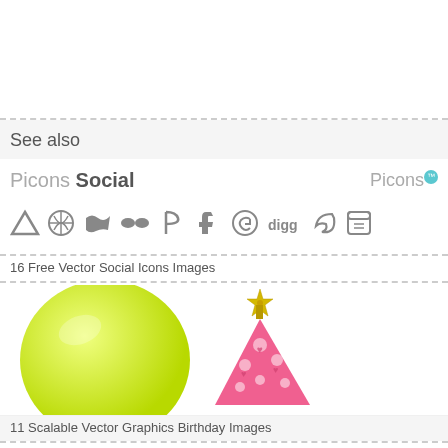See also
[Figure (screenshot): Picons Social icon set card showing logo with text 'Picons Social' on left and Picons logo badge on right, with a row of 10 social media icons below]
16 Free Vector Social Icons Images
[Figure (illustration): Birthday themed illustration showing a large yellow-green balloon on the left and a pink polka-dot party hat with gold star topper on the right]
11 Scalable Vector Graphics Birthday Images